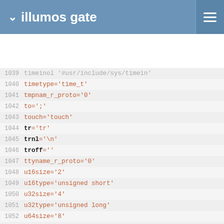illumos gate
1039 timeinol '#usr/include/sys/timein'
1040 timetype='time_t'
1041 tmpnam_r_proto='0'
1042 to=';'
1043 touch='touch'
1044 tr='tr'
1045 trnl='\n'
1046 troff=''
1047 ttyname_r_proto='0'
1048 u16size='2'
1049 u16type='unsigned short'
1050 u32size='4'
1051 u32type='unsigned long'
1052 u64size='8'
1053 u64type='unsigned long long'
1054 u8size='1'
1055 u8type='unsigned char'
1056 uidformat='"ld"'
1057 uidsign='-1'
1058 uidsize='4'
1059 uidtype='uid_t'